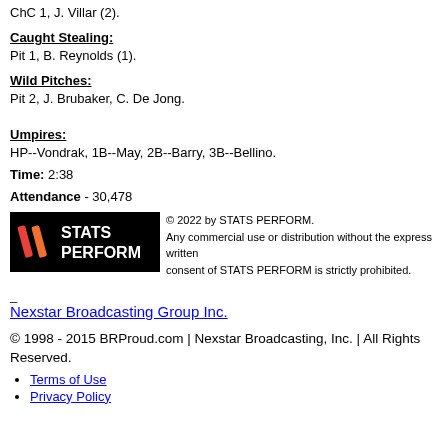ChC 1, J. Villar (2).
Caught Stealing:
Pit 1, B. Reynolds (1).
Wild Pitches:
Pit 2, J. Brubaker, C. De Jong.
Umpires:
HP--Vondrak, 1B--May, 2B--Barry, 3B--Bellino.
Time: 2:38
Attendance - 30,478
[Figure (logo): STATS PERFORM logo on black background]
© 2022 by STATS PERFORM. Any commercial use or distribution without the express written consent of STATS PERFORM is strictly prohibited.
Nexstar Broadcasting Group Inc.
© 1998 - 2015 BRProud.com | Nexstar Broadcasting, Inc. | All Rights Reserved.
Terms of Use
Privacy Policy